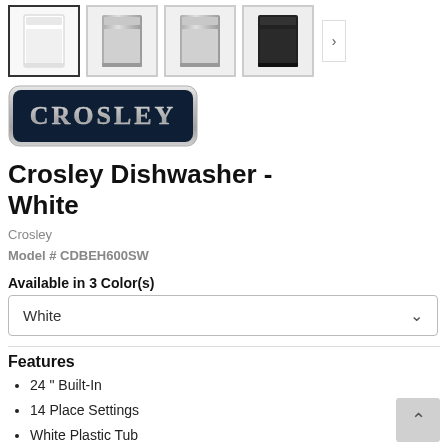[Figure (screenshot): Row of four product thumbnail images of dishwashers (white, stainless, stainless, black) with a right arrow navigation button]
[Figure (logo): Crosley brand logo — dark navy badge with silver 'CROSLEY' text and silver border]
Crosley Dishwasher - White
Crosley
Model # CDBEH600SW
Available in 3 Color(s)
White
Features
24 " Built-In
14 Place Settings
White Plastic Tub